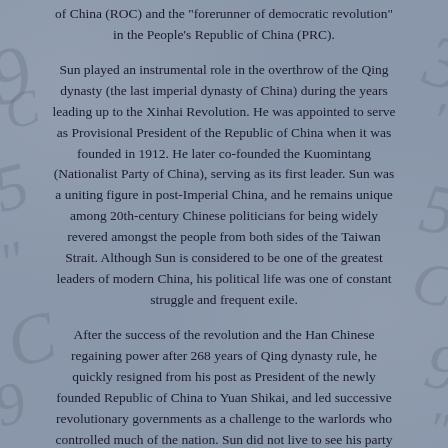of China (ROC) and the "forerunner of democratic revolution" in the People's Republic of China (PRC).
Sun played an instrumental role in the overthrow of the Qing dynasty (the last imperial dynasty of China) during the years leading up to the Xinhai Revolution. He was appointed to serve as Provisional President of the Republic of China when it was founded in 1912. He later co-founded the Kuomintang (Nationalist Party of China), serving as its first leader. Sun was a uniting figure in post-Imperial China, and he remains unique among 20th-century Chinese politicians for being widely revered amongst the people from both sides of the Taiwan Strait. Although Sun is considered to be one of the greatest leaders of modern China, his political life was one of constant struggle and frequent exile.
After the success of the revolution and the Han Chinese regaining power after 268 years of Qing dynasty rule, he quickly resigned from his post as President of the newly founded Republic of China to Yuan Shikai, and led successive revolutionary governments as a challenge to the warlords who controlled much of the nation. Sun did not live to see his party consolidate its power over the country during the Northern Expedition. His party, which formed a fragile alliance with the